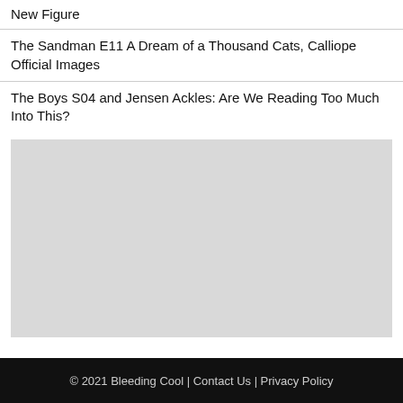New Figure
The Sandman E11 A Dream of a Thousand Cats, Calliope Official Images
The Boys S04 and Jensen Ackles: Are We Reading Too Much Into This?
[Figure (other): Gray placeholder image block]
© 2021 Bleeding Cool | Contact Us | Privacy Policy